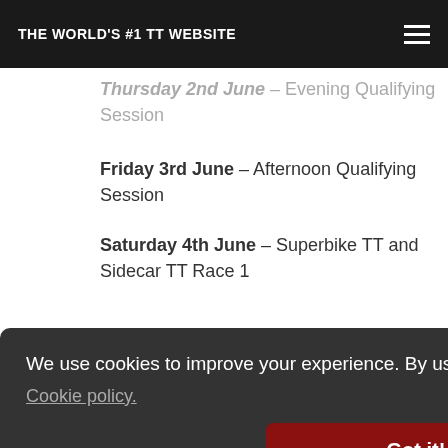THE WORLD'S #1 TT WEBSITE
Thursday 2nd June – Evening Qualifying Session
Friday 3rd June – Afternoon Qualifying Session
Saturday 4th June – Superbike TT and Sidecar TT Race 1
Monday 6th June – Supersport TT Race 1 and Superstock TT
We use cookies to improve your experience. By using our site you are accepting our Cookie policy.
Got it!